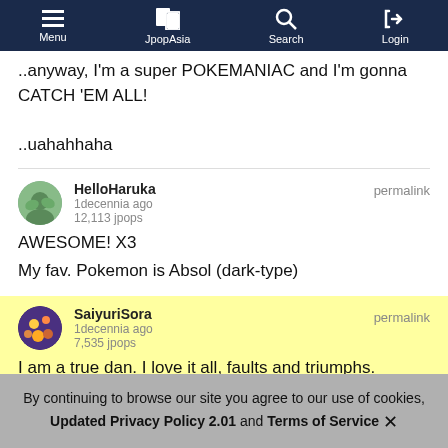Menu | JpopAsia | Search | Login
..anyway, I'm a super POKEMANIAC and I'm gonna CATCH 'EM ALL!

..uahahhaha
HelloHaruka
1decennia ago
12,113 jpops
AWESOME! X3

My fav. Pokemon is Absol (dark-type)
permalink
SaiyuriSora
1decennia ago
7,535 jpops
I am a true dan. I love it all, faults and triumphs.
permalink
By continuing to browse our site you agree to our use of cookies, Updated Privacy Policy 2.01 and Terms of Service ✕